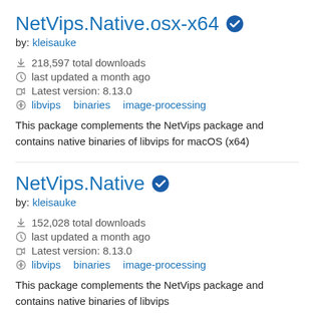NetVips.Native.osx-x64
by: kleisauke
218,597 total downloads
last updated a month ago
Latest version: 8.13.0
libvips binaries image-processing
This package complements the NetVips package and contains native binaries of libvips for macOS (x64)
NetVips.Native
by: kleisauke
152,028 total downloads
last updated a month ago
Latest version: 8.13.0
libvips binaries image-processing
This package complements the NetVips package and contains native binaries of libvips